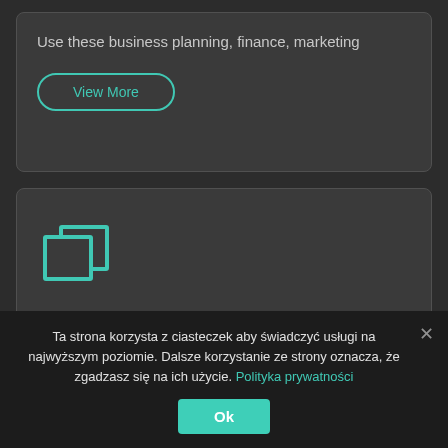Use these business planning, finance, marketing
View More
[Figure (illustration): Teal outline icon of two overlapping rectangles (duplicate/copy icon)]
Software Add-ons For Developers
Ta strona korzysta z ciasteczek aby świadczyć usługi na najwyższym poziomie. Dalsze korzystanie ze strony oznacza, że zgadzasz się na ich użycie. Polityka prywatności
Ok